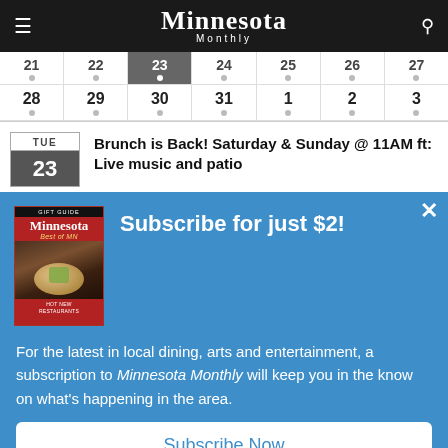Minnesota Monthly
| 21 | 22 | 23 | 24 | 25 | 26 | 27 |
| --- | --- | --- | --- | --- | --- | --- |
| • | • | • | • | • | • | • |
| 28 | 29 | 30 | 31 | 1 | 2 | 3 |
| • | • | • | • | • | • | • |
Brunch is Back! Saturday & Sunday @ 11AM ft: Live music and patio
[Figure (illustration): Minnesota Monthly magazine cover - Best of MN issue, showing food on a plate]
Subscribe for just $2!
For the latest in local dining, arts and entertainment, a subscription to Minnesota Monthly will keep you in the know on what's happening in the area.
Subscribe Now